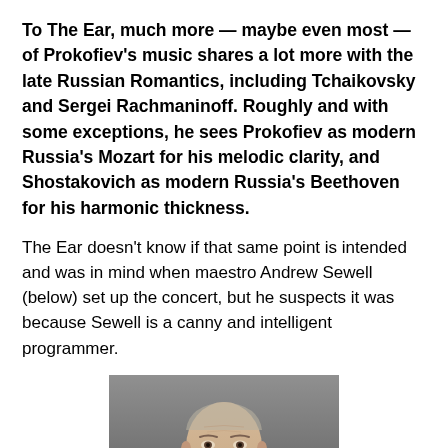To The Ear, much more — maybe even most — of Prokofiev's music shares a lot more with the late Russian Romantics, including Tchaikovsky and Sergei Rachmaninoff. Roughly and with some exceptions, he sees Prokofiev as modern Russia's Mozart for his melodic clarity, and Shostakovich as modern Russia's Beethoven for his harmonic thickness.
The Ear doesn't know if that same point is intended and was in mind when maestro Andrew Sewell (below) set up the concert, but he suspects it was because Sewell is a canny and intelligent programmer.
[Figure (photo): Portrait photo of maestro Andrew Sewell, a man in a dark jacket with white shirt, light background, looking toward camera]